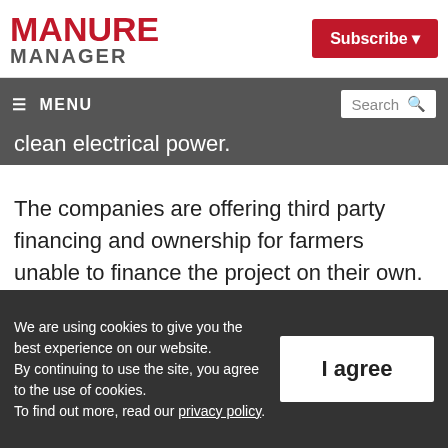MANURE MANAGER
Subscribe
≡ MENU | Search
clean electrical power.
The companies are offering third party financing and ownership for farmers unable to finance the project on their own. Farmers also have the option of owning their entire project, none of it, or a percentage.
We are using cookies to give you the best experience on our website. By continuing to use the site, you agree to the use of cookies. To find out more, read our privacy policy.
I agree